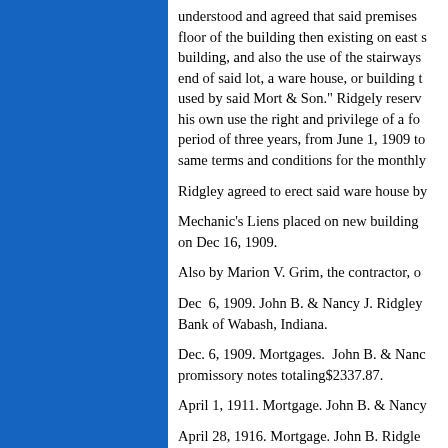understood and agreed that said premises floor of the building then existing on east s building, and also the use of the stairways end of said lot, a ware house, or building t used by said Mort & Son." Ridgely reserv his own use the right and privilege of a fo period of three years, from June 1, 1909 to same terms and conditions for the monthly
Ridgley agreed to erect said ware house by
Mechanic's Liens placed on new building on Dec 16, 1909.
Also by Marion V. Grim, the contractor, o
Dec  6, 1909. John B. & Nancy J. Ridgley Bank of Wabash, Indiana.
Dec. 6, 1909. Mortgages.  John B. & Nanc promissory notes totaling$2337.87.
April 1, 1911. Mortgage. John B. & Nancy
April 28, 1916. Mortgage. John B. Ridgle